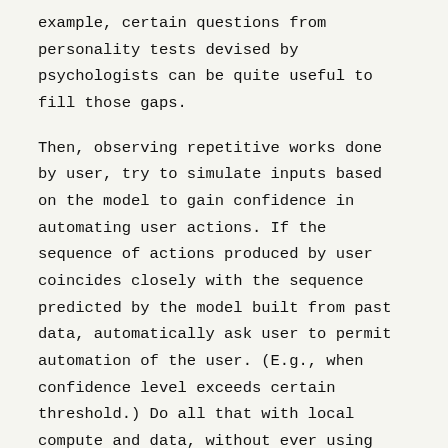example, certain questions from personality tests devised by psychologists can be quite useful to fill those gaps.
Then, observing repetitive works done by user, try to simulate inputs based on the model to gain confidence in automating user actions. If the sequence of actions produced by user coincides closely with the sequence predicted by the model built from past data, automatically ask user to permit automation of the user. (E.g., when confidence level exceeds certain threshold.) Do all that with local compute and data, without ever using cloud services.